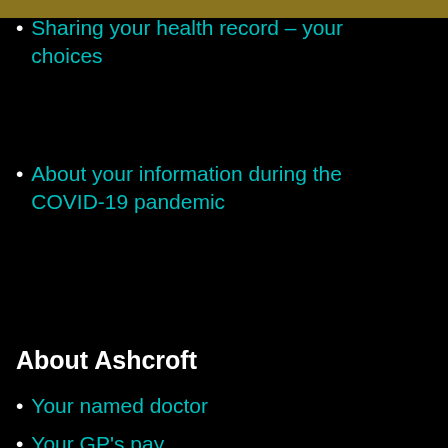Sharing your health record – your choices
About your information during the COVID-19 pandemic
About Ashcroft
Your named doctor
Your GP's pay
Our Practice Survey results
Contact Us